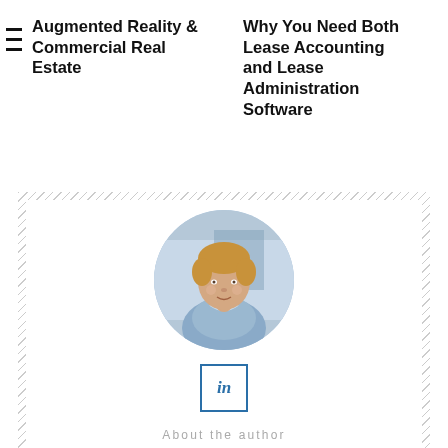Augmented Reality & Commercial Real Estate
Why You Need Both Lease Accounting and Lease Administration Software
[Figure (photo): Circular headshot photo of Guy Gray, a middle-aged man with light reddish-brown hair wearing a light blue shirt, photographed outdoors]
[Figure (logo): LinkedIn 'in' logo button with teal/blue border square]
About the author
Guy Gray